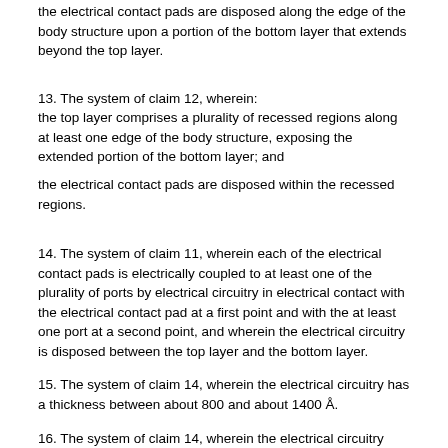the electrical contact pads are disposed along the edge of the body structure upon a portion of the bottom layer that extends beyond the top layer.
13. The system of claim 12, wherein: the top layer comprises a plurality of recessed regions along at least one edge of the body structure, exposing the extended portion of the bottom layer; and

the electrical contact pads are disposed within the recessed regions.
14. The system of claim 11, wherein each of the electrical contact pads is electrically coupled to at least one of the plurality of ports by electrical circuitry in electrical contact with the electrical contact pad at a first point and with the at least one port at a second point, and wherein the electrical circuitry is disposed between the top layer and the bottom layer.
15. The system of claim 14, wherein the electrical circuitry has a thickness between about 800 and about 1400 Å.
16. The system of claim 14, wherein the electrical circuitry comprises a